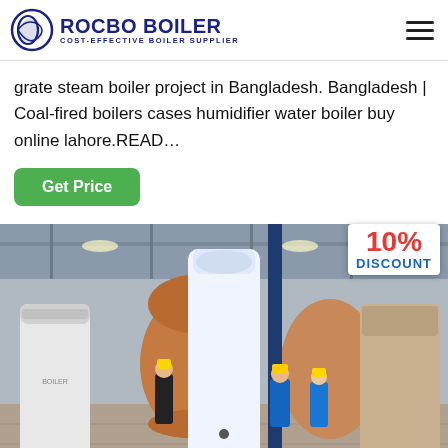ROCBO BOILER - COST-EFFECTIVE BOILER SUPPLIER
grate steam boiler project in Bangladesh. Bangladesh | Coal-fired boilers cases humidifier water boiler buy online lahore.READ…
Get Price
[Figure (photo): Factory floor showing industrial boilers in various stages of assembly. Workers in hard hats inspecting large cylindrical boiler units. A prominent white vertical cylindrical boiler in the center foreground, with brown/terracotta colored boiler shells visible. A 10% DISCOUNT badge is displayed in the top right corner of the image.]